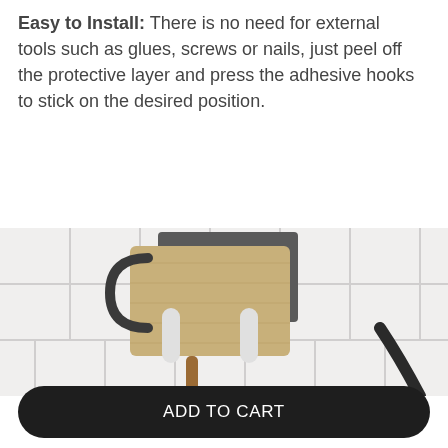Easy to Install: There is no need for external tools such as glues, screws or nails, just peel off the protective layer and press the adhesive hooks to stick on the desired position.
[Figure (photo): Photo of adhesive wall hooks mounted on white square tile wall, holding a wooden cutting board and other kitchen utensils including a dark-handled tool and a black cable/hose.]
ADD TO CART